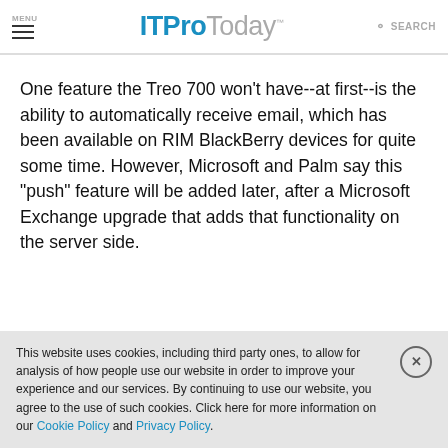MENU  ITProToday  SEARCH
One feature the Treo 700 won't have--at first--is the ability to automatically receive email, which has been available on RIM BlackBerry devices for quite some time. However, Microsoft and Palm say this "push" feature will be added later, after a Microsoft Exchange upgrade that adds that functionality on the server side.
This website uses cookies, including third party ones, to allow for analysis of how people use our website in order to improve your experience and our services. By continuing to use our website, you agree to the use of such cookies. Click here for more information on our Cookie Policy and Privacy Policy.